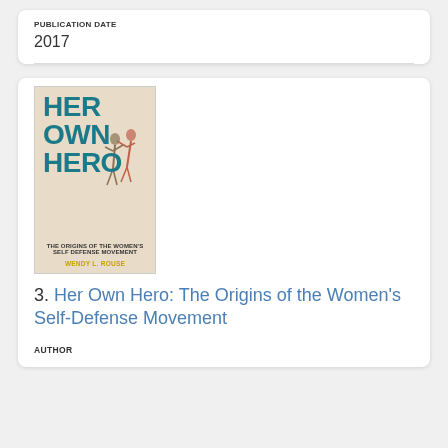PUBLICATION DATE
2017
[Figure (illustration): Book cover of 'Her Own Hero: The Origins of the Women's Self Defense Movement' by Wendy L. Rouse, featuring large teal text and an illustration of two figures in a self-defense pose]
3. Her Own Hero: The Origins of the Women's Self-Defense Movement
AUTHOR